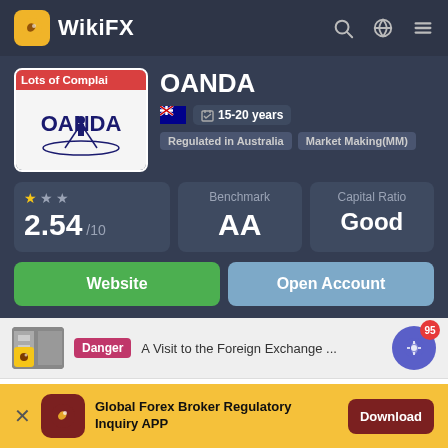WikiFX
[Figure (logo): OANDA broker logo with 'Lots of Complaints' red badge overlay]
OANDA
15-20 years | Regulated in Australia | Market Making(MM)
2.54 /10 | Benchmark: AA | Capital Ratio: Good
Website | Open Account
Danger - A Visit to the Foreign Exchange ...
Licenses
Global Forex Broker Regulatory Inquiry APP - Download